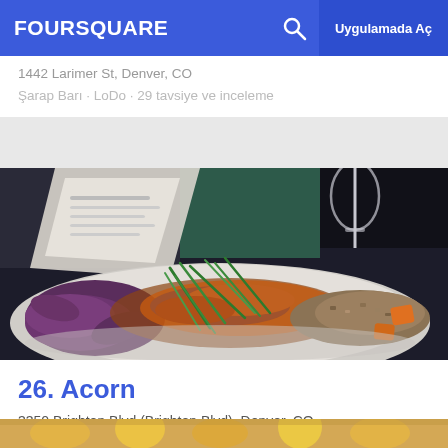FOURSQUARE  Uygulamada Aç
1442 Larimer St, Denver, CO
Şarap Barı · LoDo · 29 tavsiye ve inceleme
[Figure (photo): Food dish in a bowl with purple cabbage, grilled meat, green herbs, and grain, with a wine glass and menu in the background]
26. Acorn
3350 Brighton Blvd (Brighton Blvd), Denver, CO
Yeni Amerikan Restoranı · Five Points · 52 tavsiye ve inceleme
[Figure (photo): Partial view of food items at bottom of page]